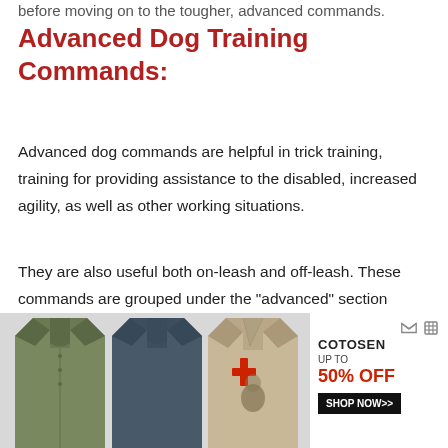before moving on to the tougher, advanced commands.
Advanced Dog Training Commands:
Advanced dog commands are helpful in trick training, training for providing assistance to the disabled, increased agility, as well as other working situations.
They are also useful both on-leash and off-leash. These commands are grouped under the “advanced” section because your dog will need some more time and probably more rewards to master these commands.
[Figure (photo): Advertisement banner for COTOSEN clothing showing three men's polo shirts (olive green, dark slate, tan with crusader cross) with text: UP TO 50% OFF, SHOP NOW>>]